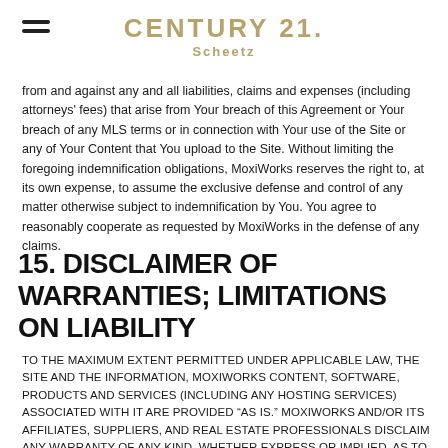CENTURY 21 Scheetz
from and against any and all liabilities, claims and expenses (including attorneys' fees) that arise from Your breach of this Agreement or Your breach of any MLS terms or in connection with Your use of the Site or any of Your Content that You upload to the Site. Without limiting the foregoing indemnification obligations, MoxiWorks reserves the right to, at its own expense, to assume the exclusive defense and control of any matter otherwise subject to indemnification by You. You agree to reasonably cooperate as requested by MoxiWorks in the defense of any claims.
15. DISCLAIMER OF WARRANTIES; LIMITATIONS ON LIABILITY
TO THE MAXIMUM EXTENT PERMITTED UNDER APPLICABLE LAW, THE SITE AND THE INFORMATION, MOXIWORKS CONTENT, SOFTWARE, PRODUCTS AND SERVICES (INCLUDING ANY HOSTING SERVICES) ASSOCIATED WITH IT ARE PROVIDED “AS IS.” MOXIWORKS AND/OR ITS AFFILIATES, SUPPLIERS, AND REAL ESTATE PROFESSIONALS DISCLAIM ANY WARRANTY OF ANY KIND, WHETHER EXPRESS OR IMPLIED, AS TO ANY MATTER WHATSOEVER RELATING TO THE SITE AND ANY INFORMATION, SOFTWARE, PRODUCTS, AND SERVICES